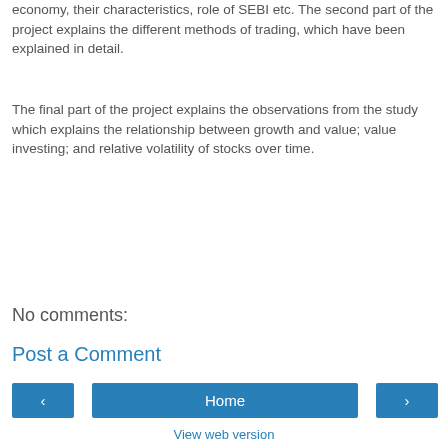economy, their characteristics, role of SEBI etc. The second part of the project explains the different methods of trading, which have been explained in detail.
The final part of the project explains the observations from the study which explains the relationship between growth and value; value investing; and relative volatility of stocks over time.
Share
No comments:
Post a Comment
‹
Home
›
View web version